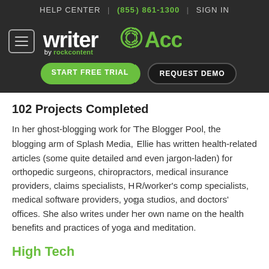HELP CENTER | (855) 861-1300 | SIGN IN
[Figure (logo): WriterAccess by rockcontent logo with hamburger menu, START FREE TRIAL and REQUEST DEMO buttons on dark background]
102 Projects Completed
In her ghost-blogging work for The Blogger Pool, the blogging arm of Splash Media, Ellie has written health-related articles (some quite detailed and even jargon-laden) for orthopedic surgeons, chiropractors, medical insurance providers, claims specialists, HR/worker's comp specialists, medical software providers, yoga studios, and doctors' offices. She also writes under her own name on the health benefits and practices of yoga and meditation.
High Tech